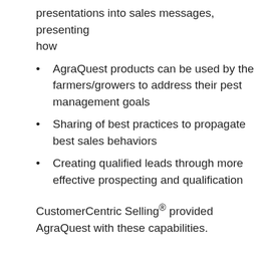presentations into sales messages, presenting how
AgraQuest products can be used by the farmers/growers to address their pest management goals
Sharing of best practices to propagate best sales behaviors
Creating qualified leads through more effective prospecting and qualification
CustomerCentric Selling® provided AgraQuest with these capabilities.